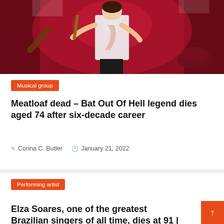[Figure (photo): Concert photo of a performer on stage with red lighting, playing or performing with a microphone stand, wearing a white outfit]
Musical group
Meatloaf dead – Bat Out Of Hell legend dies aged 74 after six-decade career
Corina C. Butler   January 21, 2022
Performing artist
Elza Soares, one of the greatest Brazilian singers of all time, dies at 91 |